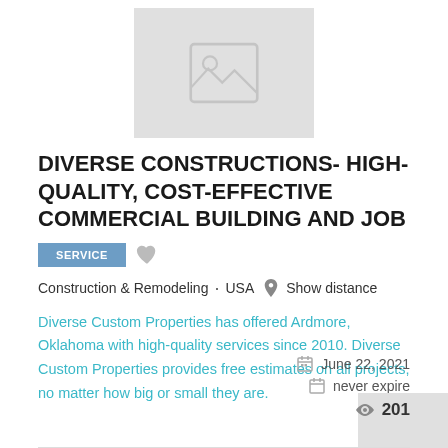[Figure (illustration): Image placeholder with broken image icon on gray background]
DIVERSE CONSTRUCTIONS- HIGH-QUALITY, COST-EFFECTIVE COMMERCIAL BUILDING AND JOB
SERVICE
Construction & Remodeling  •  USA  Show distance
Diverse Custom Properties has offered Ardmore, Oklahoma with high-quality services since 2010. Diverse Custom Properties provides free estimates on all projects, no matter how big or small they are.
June 22, 2021
never expire
201